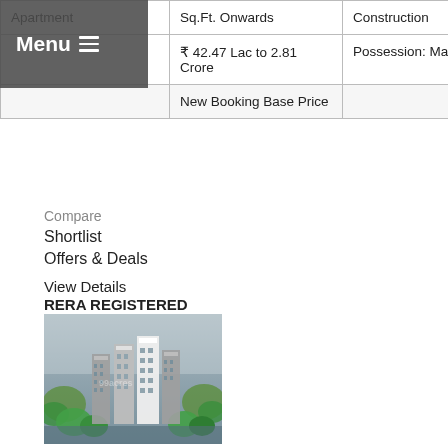| Apartment | Sq.Ft. Onwards | Construction |
| --- | --- | --- |
|  | ₹ 42.47 Lac to 2.81 Crore | Possession: Mar 2025 |
|  | New Booking Base Price |  |
Compare
Shortlist
Offers & Deals
View Details
RERA REGISTERED
[Figure (photo): Aerial rendering of a residential apartment complex with multiple high-rise towers surrounded by greenery and trees, misty/foggy atmosphere]
1 Photos
| Eldeco Live By The GreensSector-150, Noida |
| 2-3 BHK | ₹ 4650 / | Under |